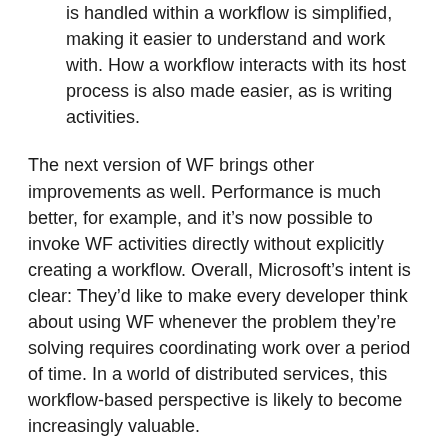is handled within a workflow is simplified, making it easier to understand and work with. How a workflow interacts with its host process is also made easier, as is writing activities.
The next version of WF brings other improvements as well. Performance is much better, for example, and it's now possible to invoke WF activities directly without explicitly creating a workflow. Overall, Microsoft's intent is clear: They'd like to make every developer think about using WF whenever the problem they're solving requires coordinating work over a period of time. In a world of distributed services, this workflow-based perspective is likely to become increasingly valuable.
“Dublin”
Today, a .NET developer who needs a home for WCF-based